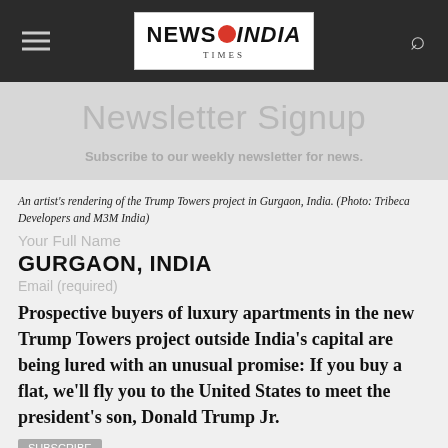NEWS INDIA TIMES
Newsletter Signup
Subscribe to our weekly newsletter for news.
An artist's rendering of the Trump Towers project in Gurgaon, India. (Photo: Tribeca Developers and M3M India)
Your Full Name
GURGAON, INDIA
Email (required)
Prospective buyers of luxury apartments in the new Trump Towers project outside India's capital are being lured with an unusual promise: If you buy a flat, we'll fly you to the United States to meet the president's son, Donald Trump Jr.
The developers of the 600-foot high-rises unveiled a